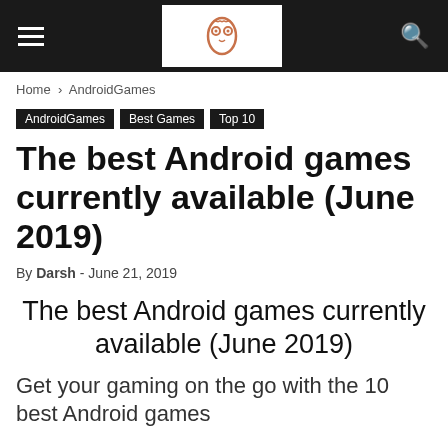≡  [owl logo]  🔍
Home › AndroidGames
AndroidGames  Best Games  Top 10
The best Android games currently available (June 2019)
By Darsh - June 21, 2019
The best Android games currently available (June 2019)
Get your gaming on the go with the 10 best Android games